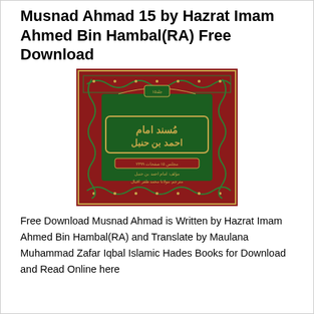Musnad Ahmad 15 by Hazrat Imam Ahmed Bin Hambal(RA) Free Download
[Figure (photo): Book cover of Musnad Imam Ahmad Bin Hambal — ornate red and green design with gold Arabic calligraphy, decorative floral border pattern in red and gold, with Urdu/Arabic text on cover.]
Free Download Musnad Ahmad is Written by Hazrat Imam Ahmed Bin Hambal(RA) and Translate by Maulana Muhammad Zafar Iqbal Islamic Hades Books for Download and Read Online here